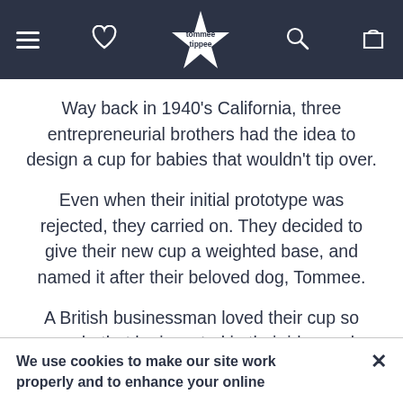[Figure (screenshot): Tommee Tippee website navigation bar with hamburger menu, heart/wishlist icon, Tommee Tippee star logo, search icon, and bag icon on dark navy background]
Way back in 1940's California, three entrepreneurial brothers had the idea to design a cup for babies that wouldn't tip over.
Even when their initial prototype was rejected, they carried on. They decided to give their new cup a weighted base, and named it after their beloved dog, Tommee.
A British businessman loved their cup so much, that he invested in their idea and
We use cookies to make our site work properly and to enhance your online